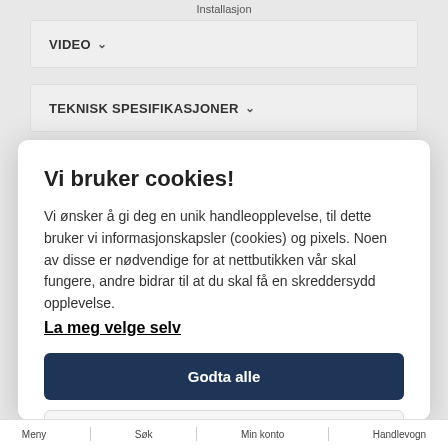Installasjon
VIDEO
TEKNISK SPESIFIKASJONER
Vi bruker cookies!
Vi ønsker å gi deg en unik handleopplevelse, til dette bruker vi informasjonskapsler (cookies) og pixels. Noen av disse er nødvendige for at nettbutikken vår skal fungere, andre bidrar til at du skal få en skreddersydd opplevelse.
La meg velge selv
Godta alle
Godta kun nødvendige
Meny | Søk | Min konto | Handlevogn